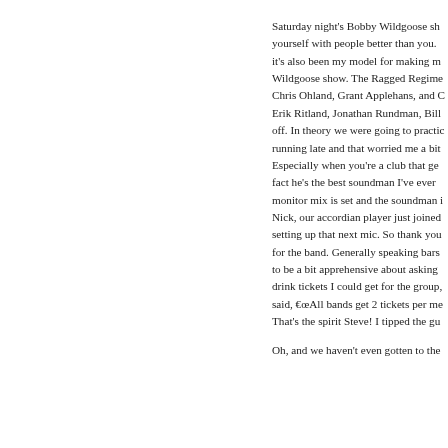Saturday night's Bobby Wildgoose show yourself with people better than you. it's also been my model for making m Wildgoose show. The Ragged Regime Chris Ohland, Grant Applehans, and C Erik Ritland, Jonathan Rundman, Bill off. In theory we were going to practic running late and that worried me a bit Especially when you're a club that ge fact he's the best soundman I've ever monitor mix is set and the soundman i Nick, our accordian player just joined setting up that next mic. So thank you for the band. Generally speaking bars to be a bit apprehensive about asking drink tickets I could get for the group, said, €œAll bands get 2 tickets per me That's the spirit Steve! I tipped the gu Oh, and we haven't even gotten to the